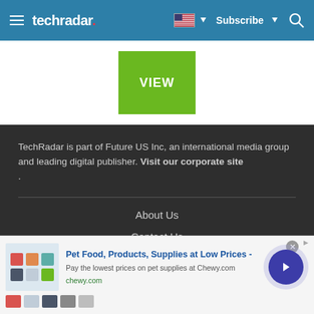techradar | Subscribe
[Figure (screenshot): Green VIEW button on white background]
TechRadar is part of Future US Inc, an international media group and leading digital publisher. Visit our corporate site .
About Us
Contact Us
[Figure (screenshot): Advertisement: Pet Food, Products, Supplies at Low Prices - chewy.com]